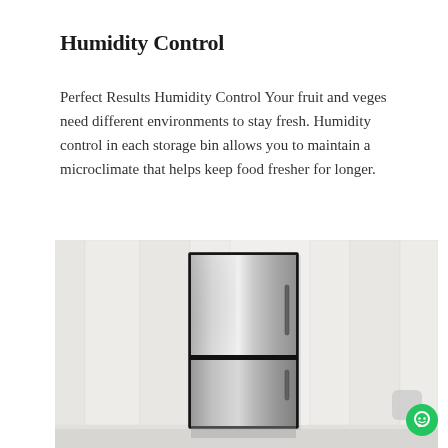Humidity Control
Perfect Results Humidity Control Your fruit and veges need different environments to stay fresh. Humidity control in each storage bin allows you to maintain a microclimate that helps keep food fresher for longer.
[Figure (photo): A stainless steel refrigerator with bottom freezer, centered against a white paneled wall background, viewed from the front.]